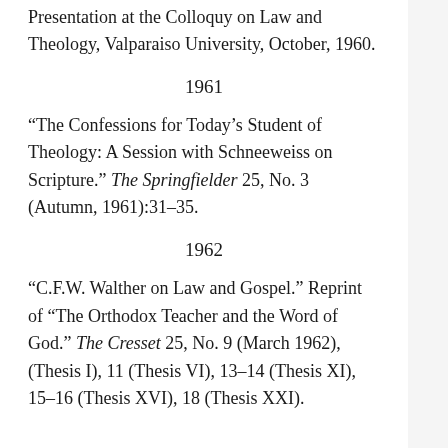What Can Law Do For Revelation Presentation at the Colloquy on Law and Theology, Valparaiso University, October, 1960.
1961
“The Confessions for Today’s Student of Theology: A Session with Schneeweiss on Scripture.” The Springfielder 25, No. 3 (Autumn, 1961):31–35.
1962
“C.F.W. Walther on Law and Gospel.” Reprint of “The Orthodox Teacher and the Word of God.” The Cresset 25, No. 9 (March 1962), (Thesis I), 11 (Thesis VI), 13–14 (Thesis XI), 15–16 (Thesis XVI), 18 (Thesis XXI).